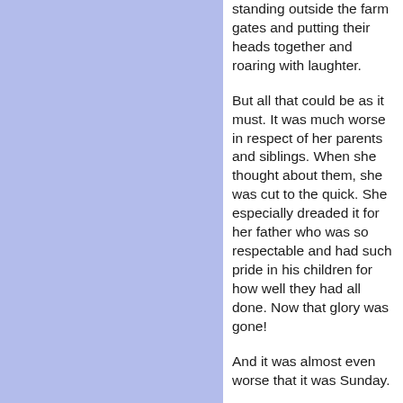She could just see them standing outside the farm gates and putting their heads together and roaring with laughter.
But all that could be as it must. It was much worse in respect of her parents and siblings. When she thought about them, she was cut to the quick. She especially dreaded it for her father who was so respectable and had such pride in his children for how well they had all done. Now that glory was gone!
And it was almost even worse that it was Sunday.